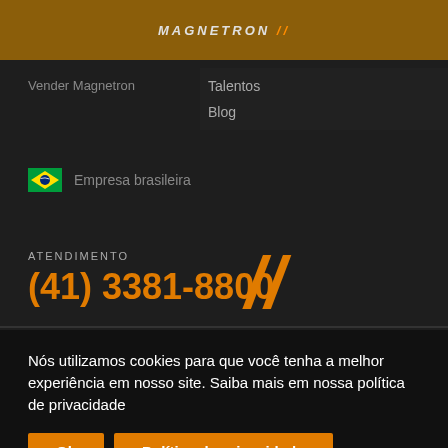MAGNETRON
Vender Magnetron
Talentos
Blog
Empresa brasileira
ATENDIMENTO
(41) 3381-8800
Nós utilizamos cookies para que você tenha a melhor experiência em nosso site. Saiba mais em nossa política de privacidade
Ok
Política de privacidade